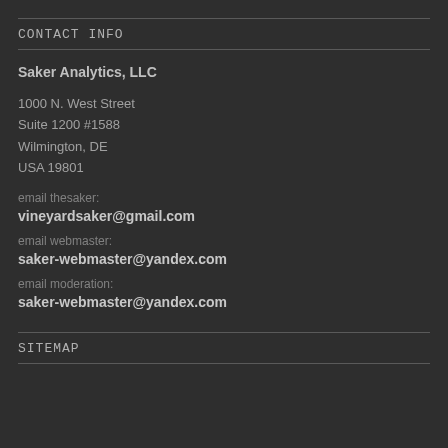CONTACT INFO
Saker Analytics, LLC
1000 N. West Street
Suite 1200 #1588
Wilmington, DE
USA 19801
email thesaker:
vineyardsaker@gmail.com
email webmaster:
saker-webmaster@yandex.com
email moderation:
saker-webmaster@yandex.com
SITEMAP